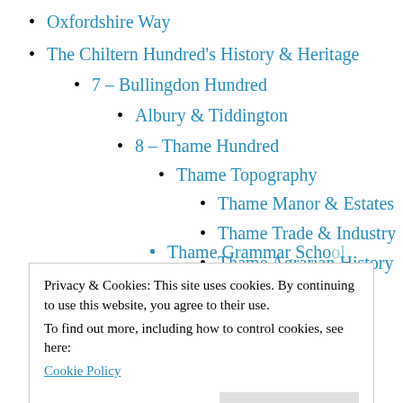Oxfordshire Way
The Chiltern Hundred's History & Heritage
7 – Bullingdon Hundred
Albury & Tiddington
8 – Thame Hundred
Thame Topography
Thame Manor & Estates
Thame Trade & Industry
Thame Agrarian History
Privacy & Cookies: This site uses cookies. By continuing to use this website, you agree to their use.
To find out more, including how to control cookies, see here:
Cookie Policy
Close and accept
River Thame